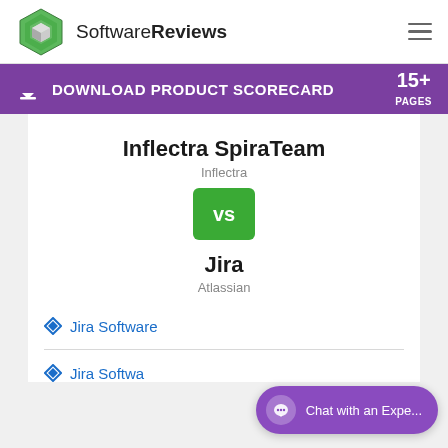[Figure (logo): SoftwareReviews logo with green hexagon icon and text 'SoftwareReviews']
DOWNLOAD PRODUCT SCORECARD  15+ PAGES
Inflectra SpiraTeam
Inflectra
[Figure (other): Green VS badge button]
Jira
Atlassian
Jira Software
Jira Softwa...
Chat with an Expe...